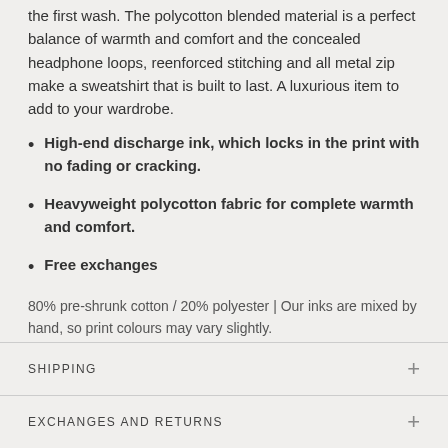the first wash. The polycotton blended material is a perfect balance of warmth and comfort and the concealed headphone loops, reenforced stitching and all metal zip make a sweatshirt that is built to last. A luxurious item to add to your wardrobe.
High-end discharge ink, which locks in the print with no fading or cracking.
Heavyweight polycotton fabric for complete warmth and comfort.
Free exchanges
80% pre-shrunk cotton / 20% polyester | Our inks are mixed by hand, so print colours may vary slightly.
SHIPPING
EXCHANGES AND RETURNS